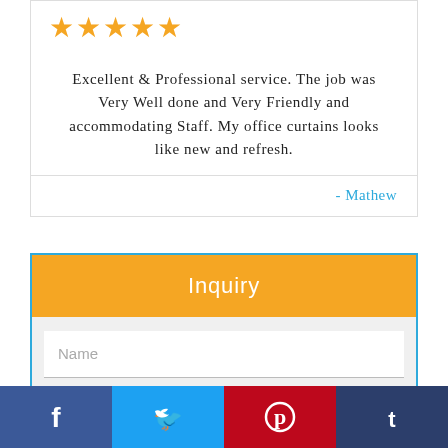[Figure (other): Five orange star rating icons]
Excellent & Professional service. The job was Very Well done and Very Friendly and accommodating Staff. My office curtains looks like new and refresh.
- Mathew
Inquiry
Name
Email
Phone
[Figure (infographic): Social media bar with Facebook, Twitter, Pinterest, and Tumblr icons]